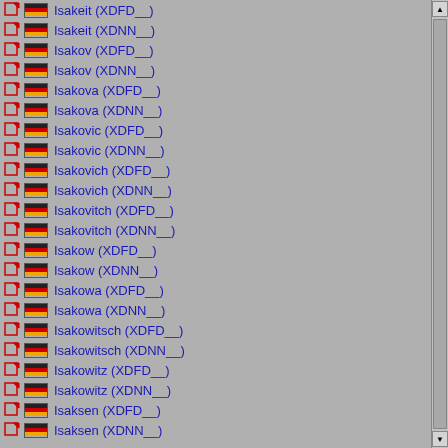Isakeit (XDFD__)
Isakeit (XDNN__)
Isakov (XDFD__)
Isakov (XDNN__)
Isakova (XDFD__)
Isakova (XDNN__)
Isakovic (XDFD__)
Isakovic (XDNN__)
Isakovich (XDFD__)
Isakovich (XDNN__)
Isakovitch (XDFD__)
Isakovitch (XDNN__)
Isakow (XDFD__)
Isakow (XDNN__)
Isakowa (XDFD__)
Isakowa (XDNN__)
Isakowitsch (XDFD__)
Isakowitsch (XDNN__)
Isakowitz (XDFD__)
Isakowitz (XDNN__)
Isaksen (XDFD__)
Isaksen (XDNN__)